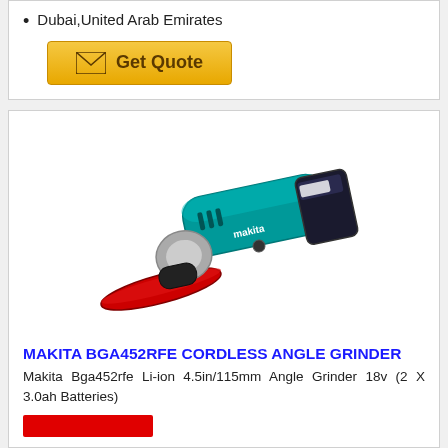Dubai,United Arab Emirates
[Figure (other): Get Quote button with envelope icon, gold/yellow gradient background]
[Figure (photo): Makita BGA452RFE cordless angle grinder with teal/blue-green body and red grinding disc, with battery attached]
MAKITA BGA452RFE CORDLESS ANGLE GRINDER
Makita Bga452rfe Li-ion 4.5in/115mm Angle Grinder 18v (2 X 3.0ah Batteries)
[Figure (other): Partially visible red button at bottom of page]